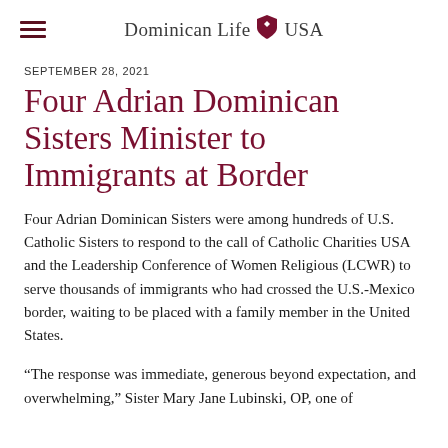Dominican Life USA
SEPTEMBER 28, 2021
Four Adrian Dominican Sisters Minister to Immigrants at Border
Four Adrian Dominican Sisters were among hundreds of U.S. Catholic Sisters to respond to the call of Catholic Charities USA and the Leadership Conference of Women Religious (LCWR) to serve thousands of immigrants who had crossed the U.S.-Mexico border, waiting to be placed with a family member in the United States.
“The response was immediate, generous beyond expectation, and overwhelming,” Sister Mary Jane Lubinski, OP, one of